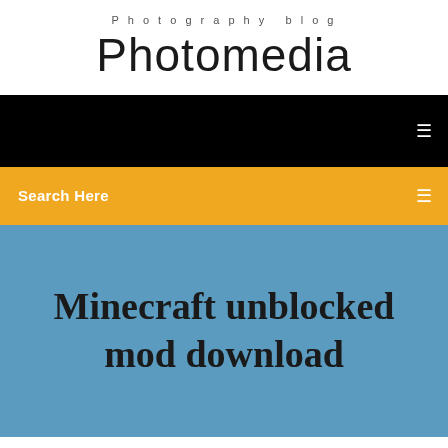Photography blog
Photomedia
[Figure (screenshot): Black navigation bar with white menu icon on right]
Search Here
Minecraft unblocked mod download